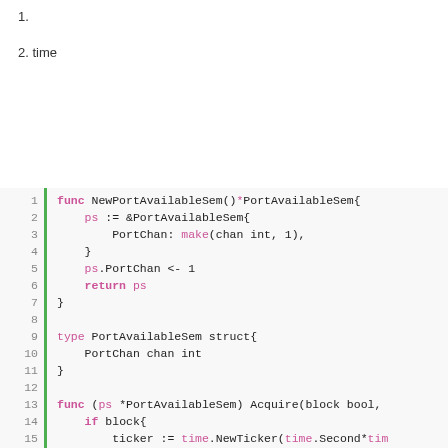1.
2. time
[Figure (screenshot): Go source code block showing NewPortAvailableSem function, PortAvailableSem struct, and beginning of Acquire method with line numbers 1-21 and a green left border.]